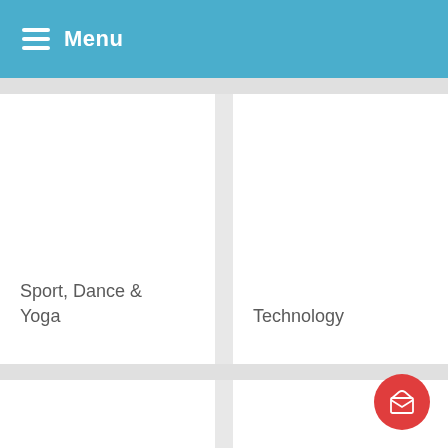Menu
Sport, Dance & Yoga
Technology
[Figure (illustration): Red circular FAB button with envelope/open mail icon]